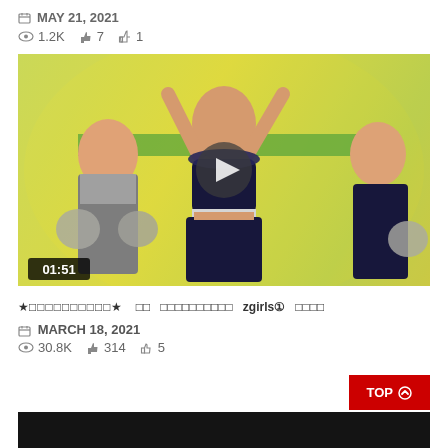MAY 21, 2021
1.2K  7  1
[Figure (photo): Video thumbnail showing three cheerleaders in navy and silver uniforms on a colorful stage background, with a play button overlay and duration 01:51]
★ □□□□□□□□□□ ★  □□  □□□□□□□□□□  zgirls①  □□□□
MARCH 18, 2021
30.8K  314  5